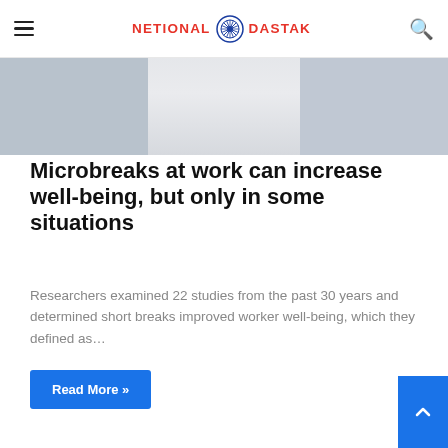[Figure (photo): Hero banner image showing blurred/faded background with multiple photo tiles in grey tones]
NETIONAL DASTAK — navigation header with hamburger menu, logo, and search icon
Microbreaks at work can increase well-being, but only in some situations
Researchers examined 22 studies from the past 30 years and determined short breaks improved worker well-being, which they defined as…
Read More »